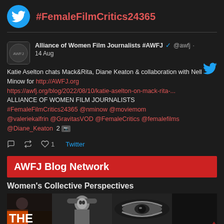#FemaleFilmCritics24365
Alliance of Women Film Journalists #AWFJ @awfj 14 Aug
Katie Aselton chats Mack&Rita, Diane Keaton & collaboration with Nell Minow for http://AWFJ.org https://awfj.org/blog/2022/08/10/katie-aselton-on-mack-rita-... ALLIANCE OF WOMEN FILM JOURNALISTS #FemaleFilmCritics24365 @nminow @moviemom @valeriekalfrin @GravitasVOD @FemaleCritics @femalefilms @Diane_Keaton 2
AWFJ Blog Network
Women's Collective Perspectives
[Figure (photo): Three black and white photos side by side showing women, one with orange THE text overlay]